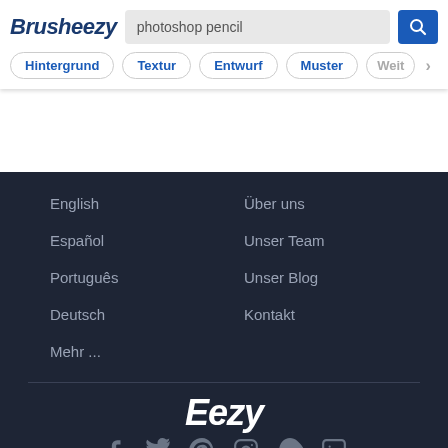Brusheezy
photoshop pencil
Hintergrund
Textur
Entwurf
Muster
Weit
English
Español
Português
Deutsch
Mehr ...
Über uns
Unser Team
Unser Blog
Kontakt
[Figure (logo): Eezy logo in white bold italic text]
[Figure (infographic): Social media icons: Facebook, Twitter, Pinterest, Instagram, Snapchat, LinkedIn]
© 2022 Eezy Inc. Alle Rechte vorbehalten